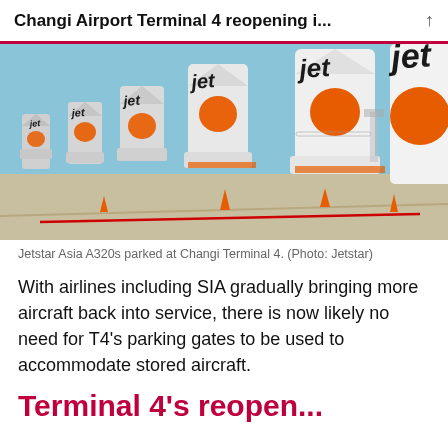Changi Airport Terminal 4 reopening i...
[Figure (photo): Multiple Jetstar Asia A320 aircraft with orange and silver livery, showing tail fins with 'jet' text and orange stars, parked in a row on the tarmac at Changi Terminal 4. Blue sky background.]
Jetstar Asia A320s parked at Changi Terminal 4. (Photo: Jetstar)
With airlines including SIA gradually bringing more aircraft back into service, there is now likely no need for T4's parking gates to be used to accommodate stored aircraft.
Terminal 4's reopen...